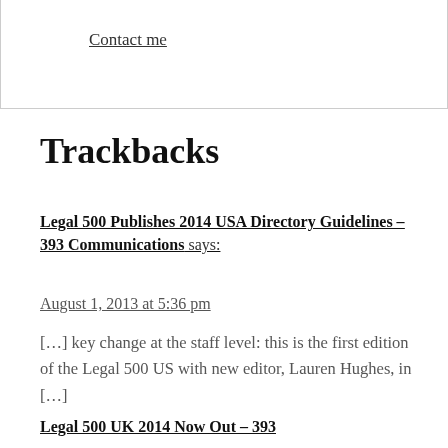Contact me
Trackbacks
Legal 500 Publishes 2014 USA Directory Guidelines – 393 Communications says:
August 1, 2013 at 5:36 pm
[…] key change at the staff level: this is the first edition of the Legal 500 US with new editor, Lauren Hughes, in […]
Legal 500 UK 2014 Now Out – 393